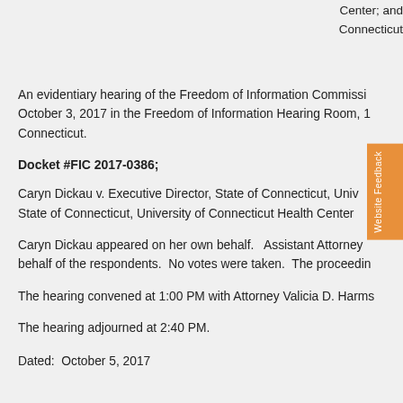Center; and Connecticut
An evidentiary hearing of the Freedom of Information Commission was held on October 3, 2017 in the Freedom of Information Hearing Room, 18... Connecticut.
Docket #FIC 2017-0386;
Caryn Dickau v. Executive Director, State of Connecticut, University of Connecticut Health Center (now State of Connecticut, University of Connecticut Health Center)
Caryn Dickau appeared on her own behalf.   Assistant Attorney General appeared on behalf of the respondents.  No votes were taken.  The proceedings were recorded.
The hearing convened at 1:00 PM with Attorney Valicia D. Harmon presiding.
The hearing adjourned at 2:40 PM.
Dated:  October 5, 2017